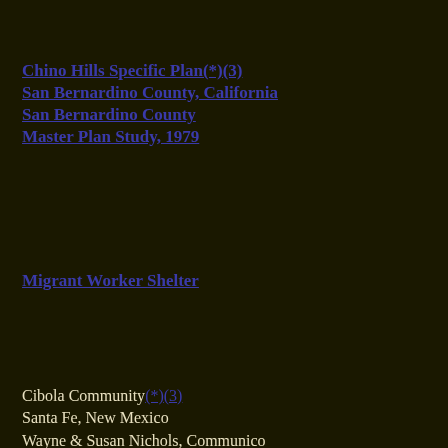Chino Hills Specific Plan(*)(3)
San Bernardino County, California
San Bernardino County
Master Plan Study, 1979
Gold... [right column, clipped]
Migrant Worker Shelter
Capit...
Sacra...
State...
Mast... [right column, clipped]
Cibola Community(*)(3)
Santa Fe, New Mexico
Wayne & Susan Nichols, Communico
Master Planning, 1984
Gates...
Mari...
Jane...
Mast... [right column, clipped]
Notes
(1) A project of the Ecological Design Institute
(2) A project of Sim Van der Ryn & Associates